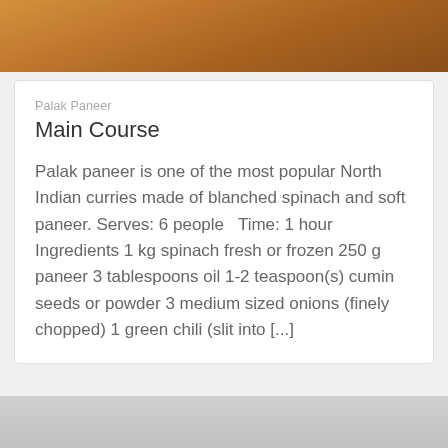[Figure (photo): Top portion of a photo showing a wooden bowl, warm brown tones, cropped at top of page]
Palak Paneer
Main Course
Palak paneer is one of the most popular North Indian curries made of blanched spinach and soft paneer. Serves: 6 people   Time: 1 hour Ingredients 1 kg spinach fresh or frozen 250 g paneer 3 tablespoons oil 1-2 teaspoon(s) cumin seeds or powder 3 medium sized onions (finely chopped) 1 green chili (slit into [...])
[Figure (photo): Bottom portion showing a gray/white surface or fabric, cropped at bottom of page]